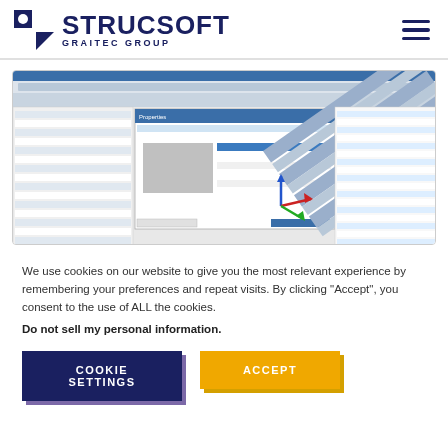[Figure (logo): Strucsoft Graitec Group logo with geometric icon on the left and hamburger menu icon on the right]
[Figure (screenshot): Screenshot of Strucsoft engineering/CAD software showing a 3D view of a ribbed/corrugated structural panel or deck with a dialog/settings panel open on the left side and a properties tree on the right.]
We use cookies on our website to give you the most relevant experience by remembering your preferences and repeat visits. By clicking “Accept”, you consent to the use of ALL the cookies.
Do not sell my personal information.
COOKIE SETTINGS
ACCEPT